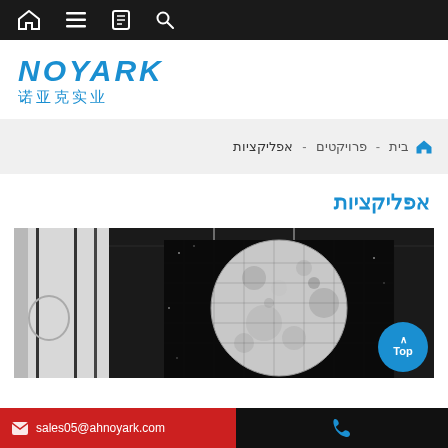Navigation bar with home, menu, book, and search icons
[Figure (logo): NOYARK logo with Chinese characters 诺亚克实业 in blue]
אפליקציות - פרויקטים - בית
אפליקציות
[Figure (photo): Interior corridor photo showing a large moon mosaic artwork on the wall with glass partition and pendant lights]
sales05@ahnoyark.com | phone icon